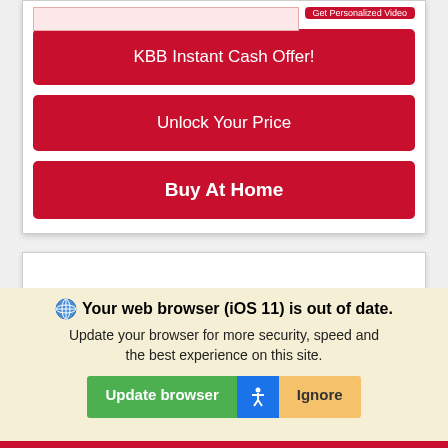[Figure (screenshot): Partial view of a car dealership website with a phone input field and a 'Get Personalized Video' button at the top]
KBB Instant Cash Offer!
Unlock Your Price
Buy At Home
[Figure (screenshot): Empty white card section below the buttons]
Your web browser (iOS 11) is out of date. Update your browser for more security, speed and the best experience on this site.
Update browser   Ignore